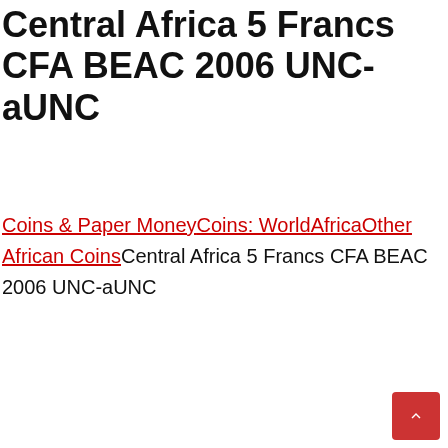Central Africa 5 Francs CFA BEAC 2006 UNC-aUNC
Coins & Paper MoneyCoins: WorldAfricaOther African CoinsCentral Africa 5 Francs CFA BEAC 2006 UNC-aUNC